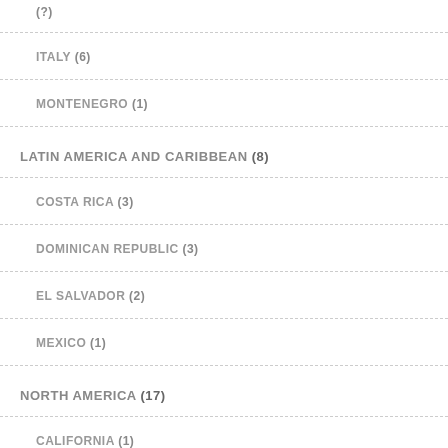(?)
ITALY (6)
MONTENEGRO (1)
LATIN AMERICA AND CARIBBEAN (8)
COSTA RICA (3)
DOMINICAN REPUBLIC (3)
EL SALVADOR (2)
MEXICO (1)
NORTH AMERICA (17)
CALIFORNIA (1)
CANADA (2)